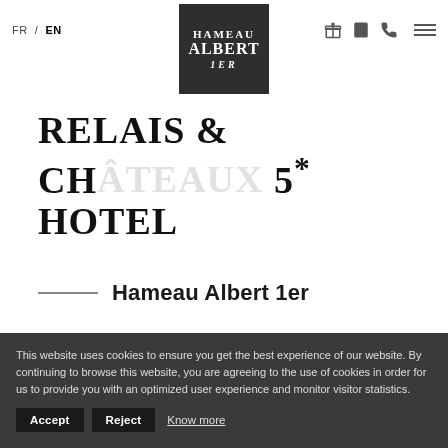FR / EN — Hameau Albert 1er logo — icons: gift, book, phone, menu
RELAIS & CHÂTEAUX 5* HOTEL
Hameau Albert 1er
5* Relais & Chateaux, the Hameau Albert 1er is a small hamlet nestled in
This website uses cookies to ensure you get the best experience of our website. By continuing to browse this website, you are agreeing to the use of cookies in order for us to provide you with an optimized user experience and monitor visitor statistics.